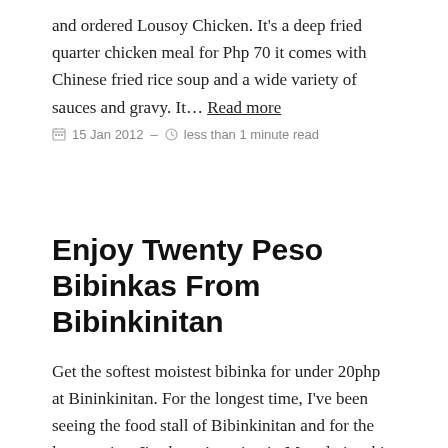and ordered Lousoy Chicken. It's a deep fried quarter chicken meal for Php 70 it comes with Chinese fried rice soup and a wide variety of sauces and gravy. It… Read more
15 Jan 2012 – less than 1 minute read
Enjoy Twenty Peso Bibinkas From Bibinkinitan
Get the softest moistest bibinka for under 20php at Bininkinitan. For the longest time, I've been seeing the food stall of Bibinkinitan and for the longest time I've been ignoring it. My relationship with bibinka is pretty neutral. I don't particularly crelave for it nor do I crave for it. So so as others might call it. Recently, our family … Read more
28 Dec 2011 – less than 1 minute read